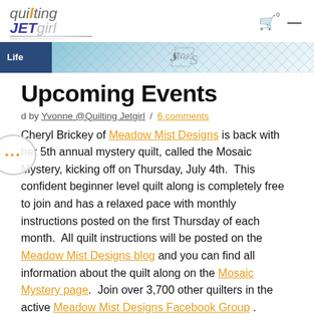quilting JETgirl
[Figure (illustration): Website banner strip with 'Life' tag and quilt pattern background]
Upcoming Events
Posted by Yvonne @Quilting Jetgirl / 6 comments
Cheryl Brickey of Meadow Mist Designs is back with her 5th annual mystery quilt, called the Mosaic Mystery, kicking off on Thursday, July 4th. This confident beginner level quilt along is completely free to join and has a relaxed pace with monthly instructions posted on the first Thursday of each month. All quilt instructions will be posted on the Meadow Mist Designs blog and you can find all information about the quilt along on the Mosaic Mystery page. Join over 3,700 other quilters in the active Meadow Mist Designs Facebook Group . Cheryl is also offering a non-mystery option for those that want to join in would rather see the design ahead of time. You can sign up the non-mystery option here